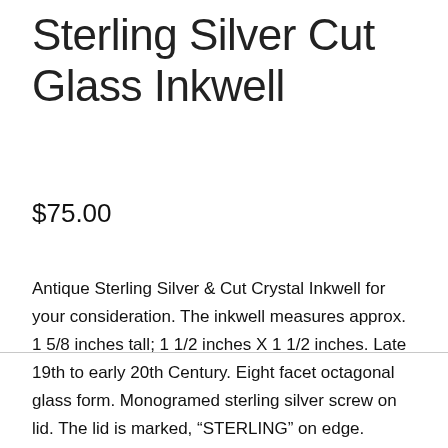Sterling Silver Cut Glass Inkwell
$75.00
Antique Sterling Silver & Cut Crystal Inkwell for your consideration. The inkwell measures approx. 1 5/8 inches tall; 1 1/2 inches X 1 1/2 inches. Late 19th to early 20th Century. Eight facet octagonal glass form. Monogramed sterling silver screw on lid. The lid is marked, “STERLING” on edge. Overall, good antique condition. Shows wear commensurate with age and use. The lid is dented in several areas. Silver is tarnished. A few crude lines inside